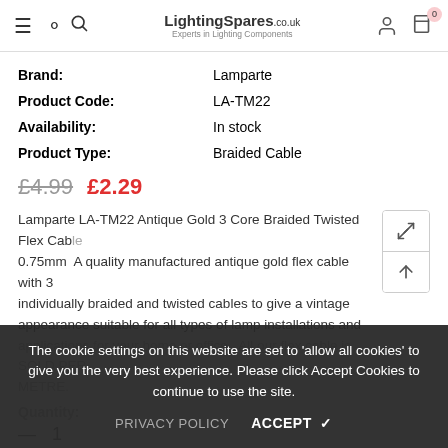LightingSpares.co.uk — Experts in Lighting Components
| Field | Value |
| --- | --- |
| Brand: | Lamparte |
| Product Code: | LA-TM22 |
| Availability: | In stock |
| Product Type: | Braided Cable |
£4.99  £2.29
Lamparte LA-TM22 Antique Gold 3 Core Braided Twisted Flex Cable 0.75mm  A quality manufactured antique gold flex cable with 3 individually braided and twisted cables to give a vintage appearance suitable for all types of lamp installations and applications for your home or office.  All our flex cable is SOLD PER METRE.
Quantity:
— 1
The cookie settings on this website are set to 'allow all cookies' to give you the very best experience. Please click Accept Cookies to continue to use the site.